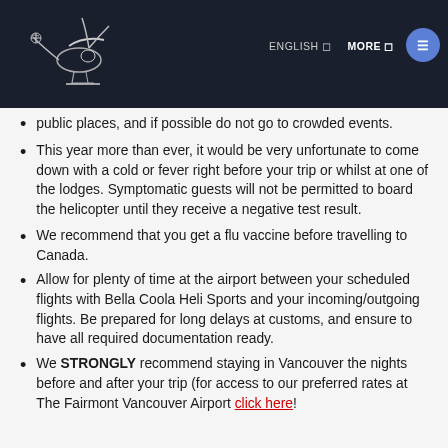ENGLISH | MORE
public places, and if possible do not go to crowded events.
This year more than ever, it would be very unfortunate to come down with a cold or fever right before your trip or whilst at one of the lodges. Symptomatic guests will not be permitted to board the helicopter until they receive a negative test result.
We recommend that you get a flu vaccine before travelling to Canada.
Allow for plenty of time at the airport between your scheduled flights with Bella Coola Heli Sports and your incoming/outgoing flights. Be prepared for long delays at customs, and ensure to have all required documentation ready.
We STRONGLY recommend staying in Vancouver the nights before and after your trip (for access to our preferred rates at The Fairmont Vancouver Airport click here!